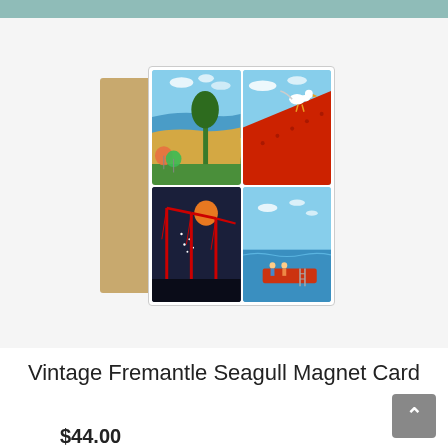[Figure (photo): Product photo of a Vintage Fremantle greeting card with kraft paper envelope. The card shows four illustrated panels: top-left with Fremantle beach scene and colorful umbrellas, top-right with a seagull perched on a red metal structure, bottom-left with a dark night sky and red cranes, bottom-right labeled 'South Beach Fremantle' showing a jetty with people and a boat.]
mmdcard_freocranes
Vintage Fremantle Seagull Magnet Card
$44.00